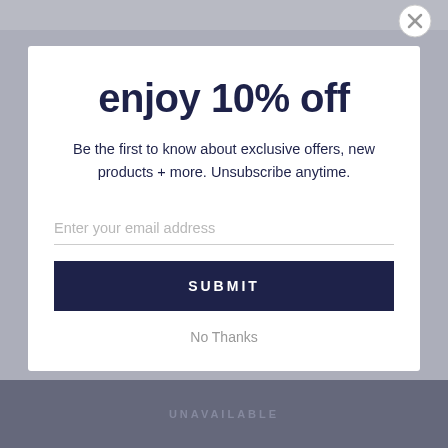[Figure (screenshot): Background webpage screenshot with blurred content behind a modal popup overlay]
enjoy 10% off
Be the first to know about exclusive offers, new products + more. Unsubscribe anytime.
Enter your email address
SUBMIT
No Thanks
UNAVAILABLE